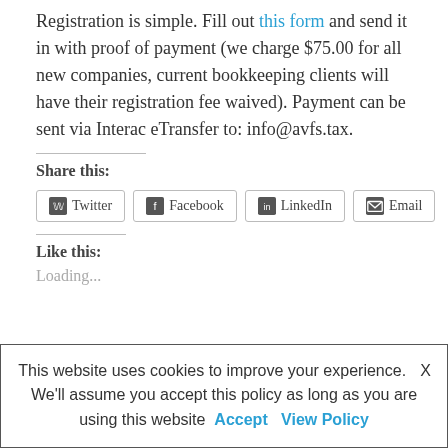Registration is simple. Fill out this form and send it in with proof of payment (we charge $75.00 for all new companies, current bookkeeping clients will have their registration fee waived). Payment can be sent via Interac eTransfer to: info@avfs.tax.
Share this:
Twitter | Facebook | LinkedIn | Email
Like this:
Loading...
This website uses cookies to improve your experience. X We'll assume you accept this policy as long as you are using this website Accept View Policy